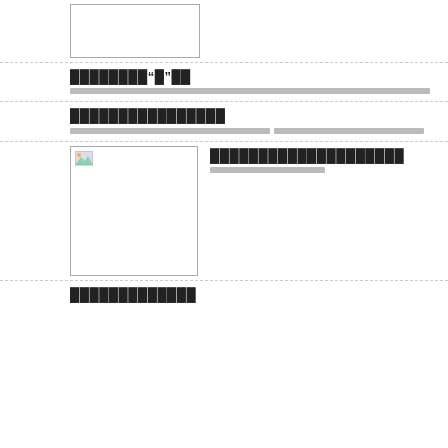[Figure (other): Placeholder image box at top of page]
████████“█”██
████████████████████████████████████████████████████████████████████████████████████████████████████████████████████████████
████████████████
████████████████████████████████████████████████████████████████████████████████████████████████████████████████████
[Figure (other): Placeholder image box in middle section]
████████████████████
████████████████████████████████████████████████████████████████
█████████████